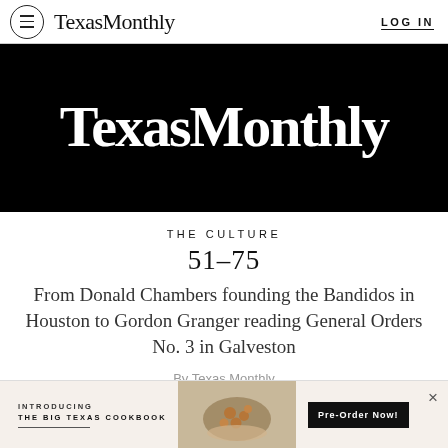TexasMonthly  LOG IN
[Figure (logo): Texas Monthly logo in large white serif text on black background]
THE CULTURE
51–75
From Donald Chambers founding the Bandidos in Houston to Gordon Granger reading General Orders No. 3 in Galveston
By Texas Monthly
[Figure (infographic): Advertisement banner: INTRODUCING THE BIG TEXAS COOKBOOK with food photo (shrimp dish) and Pre-Order Now button]